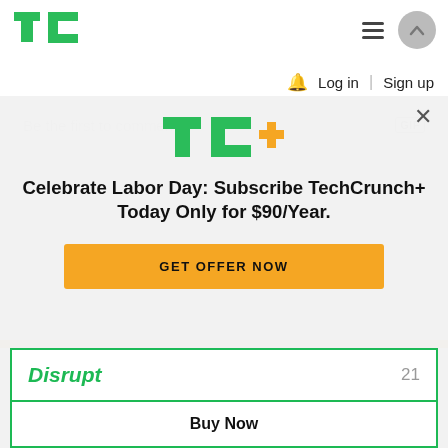[Figure (logo): TechCrunch TC logo in green top-left header]
Log in | Sign up
Be the first to comment
[Figure (logo): TC+ logo with green TC and orange plus sign]
Celebrate Labor Day: Subscribe TechCrunch+ Today Only for $90/Year.
GET OFFER NOW
Disrupt  21
Buy Now